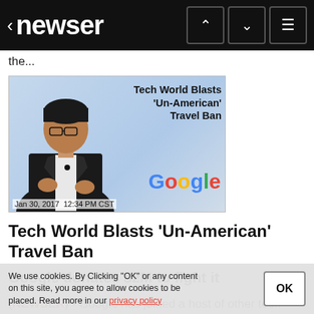< newser
the...
[Figure (screenshot): News article thumbnail showing a man in a suit speaking in front of a Google logo background, with overlay text 'Tech World Blasts Un-American Travel Ban' and date 'Jan 30, 2017 12:34 PM CST']
Tech World Blasts 'Un-American' Travel Ban
Google donates $2M to fight it
(NEWSER) - Google has joined a host of other tech companies condemning President Trump's Muslim travel ban, cross the world who come to the high-skilled
We use cookies. By Clicking "OK" or any content on this site, you agree to allow cookies to be placed. Read more in our privacy policy.